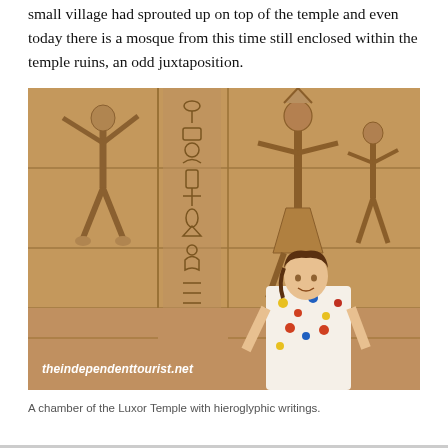small village had sprouted up on top of the temple and even today there is a mosque from this time still enclosed within the temple ruins, an odd juxtaposition.
[Figure (photo): A woman in a floral shirt stands in front of a large stone wall covered in ancient Egyptian hieroglyphic carvings and relief figures at the Luxor Temple. Watermark reads 'theindependenttourist.net'.]
A chamber of the Luxor Temple with hieroglyphic writings.